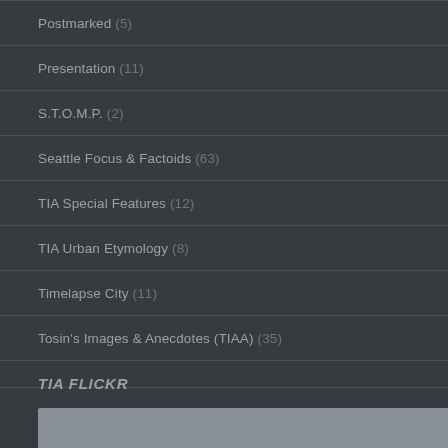Postmarked (5)
Presentation (11)
S.T.O.M.P. (2)
Seattle Focus & Factoids (63)
TIA Special Features (12)
TIA Urban Etymology (8)
Timelapse City (11)
Tosin's Images & Anecdotes (TIAA) (35)
TIA FLICKR
[Figure (photo): Partial image visible at bottom of page, grey/light colored photograph strip]